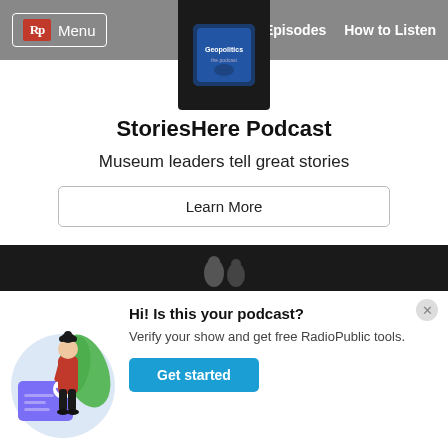Rp Menu | Episodes | How to Listen
[Figure (screenshot): Podcast thumbnail image showing Geopolitics podcast logo in dark square overlay]
StoriesHere Podcast
Museum leaders tell great stories
Learn More
[Figure (illustration): Illustration of a person with dark hair in red top standing next to a large card with a checkmark, with green leaves in background on a light blue circle]
Hi! Is this your podcast?
Verify your show and get free RadioPublic tools.
Get started